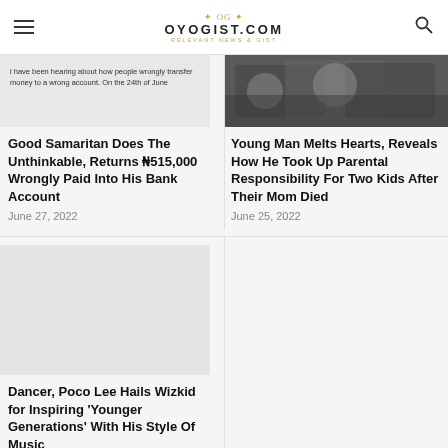OYOGIST.COM
[Figure (photo): Screenshot text about wrongly transferred money]
Good Samaritan Does The Unthinkable, Returns ₦515,000 Wrongly Paid Into His Bank Account
June 27, 2022
[Figure (photo): People exchanging money, handshake with cash]
Young Man Melts Hearts, Reveals How He Took Up Parental Responsibility For Two Kids After Their Mom Died
June 25, 2022
[Figure (photo): Blank/empty image placeholder]
Dancer, Poco Lee Hails Wizkid for Inspiring 'Younger Generations' With His Style Of Music